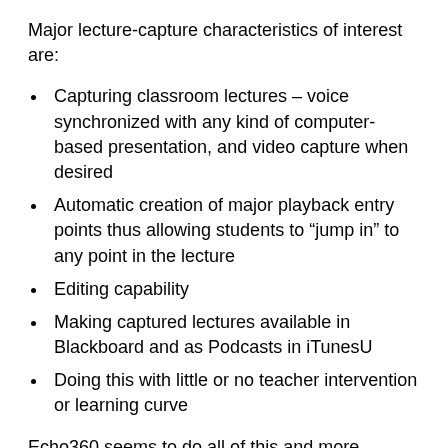Major lecture-capture characteristics of interest are:
Capturing classroom lectures – voice synchronized with any kind of computer-based presentation, and video capture when desired
Automatic creation of major playback entry points thus allowing students to “jump in” to any point in the lecture
Editing capability
Making captured lectures available in Blackboard and as Podcasts in iTunesU
Doing this with little or no teacher intervention or learning curve
Echo360 seems to do all of this and more.